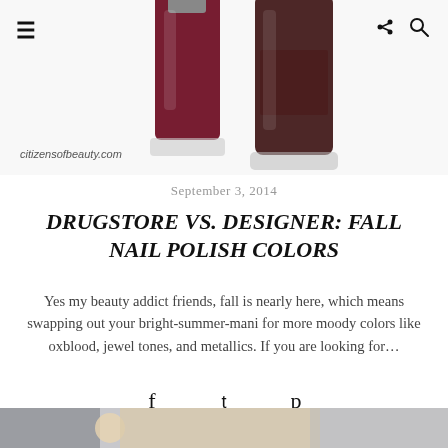[Figure (photo): Two nail polish bottles, one dark red/oxblood and one dark brown, on white background]
citizensofbeauty.com
September 3, 2014
DRUGSTORE VS. DESIGNER: FALL NAIL POLISH COLORS
Yes my beauty addict friends, fall is nearly here, which means swapping out your bright-summer-mani for more moody colors like oxblood, jewel tones, and metallics. If you are looking for…
[Figure (infographic): Social share icons: Facebook, Twitter, Pinterest]
Read More
[Figure (photo): Bottom partial photo, appears to show nails/hand]